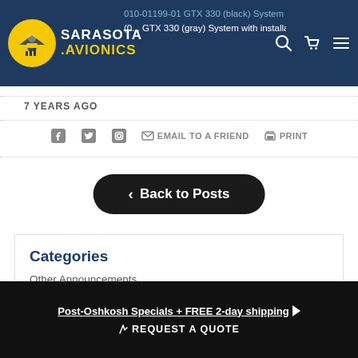Sarasota Avionics — GTX 330 (black) System with installation kit / GTX 330 (gray) System with installation kit
7 YEARS AGO
EMAIL TO A FRIEND  PRINT
‹ Back to Posts
Categories
Other Announcements
Post-Oshkosh Specials + FREE 2-day shipping ▶  ✎ REQUEST A QUOTE